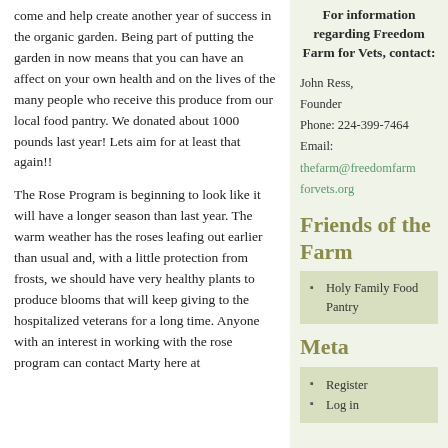come and help create another year of success in the organic garden. Being part of putting the garden in now means that you can have an affect on your own health and on the lives of the many people who receive this produce from our local food pantry. We donated about 1000 pounds last year! Lets aim for at least that again!!
The Rose Program is beginning to look like it will have a longer season than last year. The warm weather has the roses leafing out earlier than usual and, with a little protection from frosts, we should have very healthy plants to produce blooms that will keep giving to the hospitalized veterans for a long time. Anyone with an interest in working with the rose program can contact Marty here at
For information regarding Freedom Farm for Vets, contact:
John Ress,
Founder
Phone: 224-399-7464
Email:
thefarm@freedomfarmforvets.org
Friends of the Farm
Holy Family Food Pantry
Meta
Register
Log in